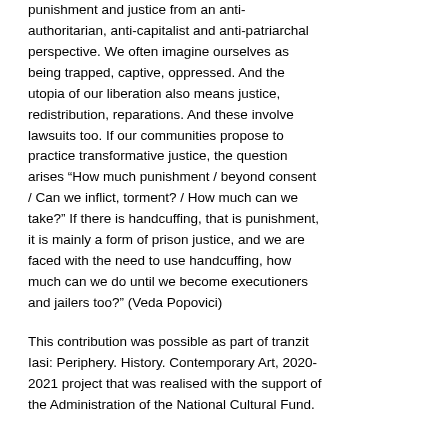punishment and justice from an anti-authoritarian, anti-capitalist and anti-patriarchal perspective. We often imagine ourselves as being trapped, captive, oppressed. And the utopia of our liberation also means justice, redistribution, reparations. And these involve lawsuits too. If our communities propose to practice transformative justice, the question arises “How much punishment / beyond consent / Can we inflict, torment? / How much can we take?” If there is handcuffing, that is punishment, it is mainly a form of prison justice, and we are faced with the need to use handcuffing, how much can we do until we become executioners and jailers too?” (Veda Popovici)
This contribution was possible as part of tranzit Iasi: Periphery. History. Contemporary Art, 2020-2021 project that was realised with the support of the Administration of the National Cultural Fund.